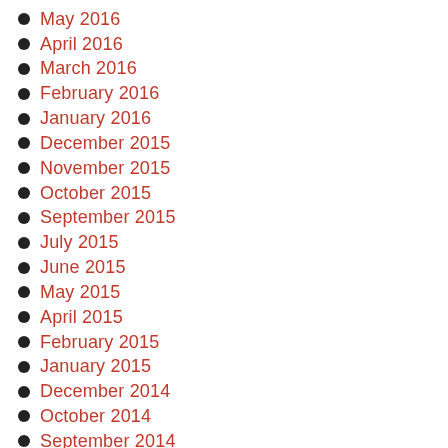June 2016
May 2016
April 2016
March 2016
February 2016
January 2016
December 2015
November 2015
October 2015
September 2015
July 2015
June 2015
May 2015
April 2015
February 2015
January 2015
December 2014
October 2014
September 2014
August 2014
June 2014
May 2014
April 2014